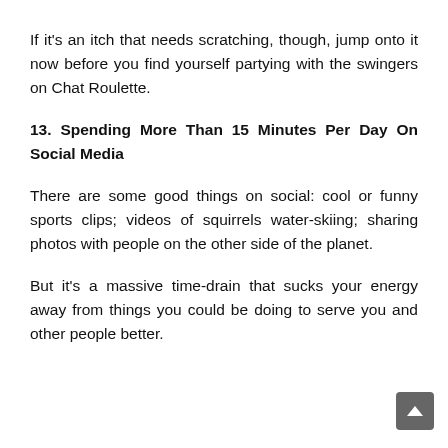If it's an itch that needs scratching, though, jump onto it now before you find yourself partying with the swingers on Chat Roulette.
13. Spending More Than 15 Minutes Per Day On Social Media
There are some good things on social: cool or funny sports clips; videos of squirrels water-skiing; sharing photos with people on the other side of the planet.
But it's a massive time-drain that sucks your energy away from things you could be doing to serve you and other people better.